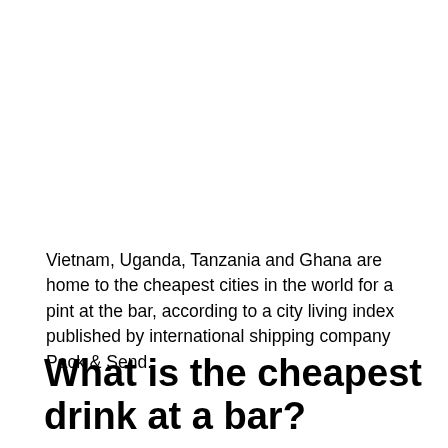Vietnam, Uganda, Tanzania and Ghana are home to the cheapest cities in the world for a pint at the bar, according to a city living index published by international shipping company Pack & Send.
What is the cheapest drink at a bar?